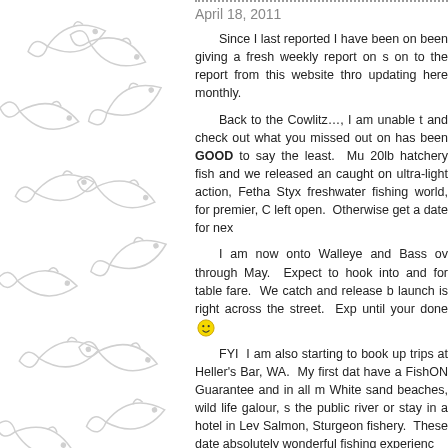[Figure (illustration): Decorative panel with light gray outline fish illustrations arranged vertically on white background, left side of page]
April 18, 2011
Since I last reported I have been on... been giving a fresh weekly report on ... on to the report from this website thro... updating here monthly.
Back to the Cowlitz…, I am unable t... and check out what you missed out o... has been GOOD to say the least. Mu... 20lb hatchery fish and we released a... caught on ultra-light action, Fetha Styx... freshwater fishing world, for premier, C... left open. Otherwise get a date for nex...
I am now onto Walleye and Bass ov... through May. Expect to hook into and... for table fare. We catch and release b... launch is right across the street. Exp... until your done 🙂
FYI I am also starting to book up... trips at Heller's Bar, WA. My first dat... have a FishON Guarantee and in all m... White sand beaches, wild life galour, s... the public river or stay in a hotel in Le... Salmon, Sturgeon fishery. These date... absolutely wonderful fishing experienc...